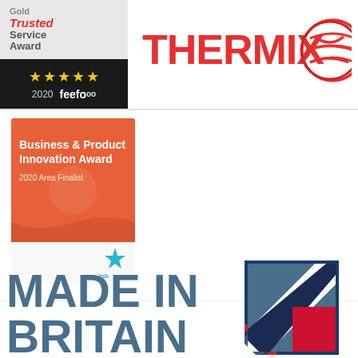[Figure (logo): Feefo Gold Trusted Service Award 2020 badge with 5 gold stars on dark background]
[Figure (logo): Thermix company logo in red text with circular globe icon]
[Figure (logo): FSB Business & Product Innovation Award 2020 Area Finalist badge on orange background with FSB star logo]
[Figure (logo): Made in Britain logo with bold steel-blue text and Union Jack arrow icon in blue, white and red]